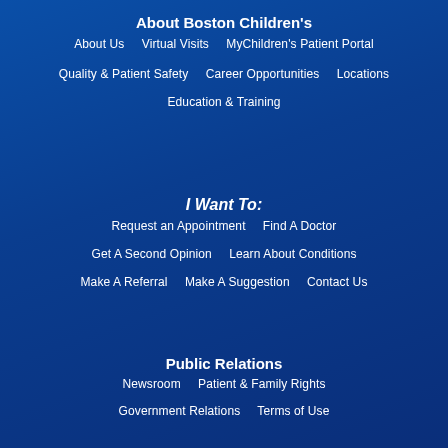About Boston Children's
About Us   Virtual Visits   MyChildren's Patient Portal
Quality & Patient Safety   Career Opportunities   Locations
Education & Training
I Want To:
Request an Appointment   Find A Doctor
Get A Second Opinion   Learn About Conditions
Make A Referral   Make A Suggestion   Contact Us
Public Relations
Newsroom   Patient & Family Rights
Government Relations   Terms of Use